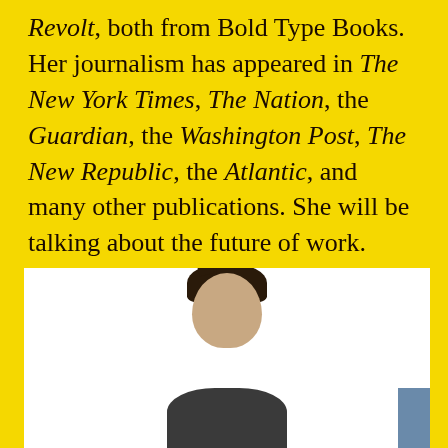Revolt, both from Bold Type Books. Her journalism has appeared in The New York Times, The Nation, the Guardian, the Washington Post, The New Republic, the Atlantic, and many other publications. She will be talking about the future of work.
[Figure (photo): Headshot photo of a person with dark spiky/messy hair against a white background, with a small blue rectangular element visible at bottom right]